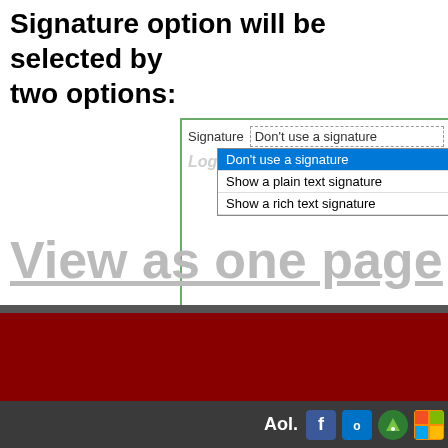Signature option will be selected by two options:
[Figure (screenshot): A dropdown menu showing Signature options: 'Don't use a signature' (selected/highlighted in blue), 'Show a plain text signature', 'Show a rich text signature'. The watermark 'LoginTips.com' is visible behind the dropdown.]
View as one page
[Figure (screenshot): Windows taskbar with AOL, Facebook, Outlook, and Windows icons visible at the bottom of the screen. A dark red/maroon section is above the taskbar.]